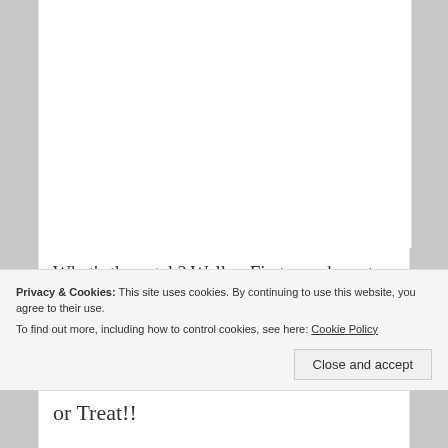[Figure (other): White content area with column layout visible at top of page]
What's the catch? Well.... First, you have to be a US citizen, and I apologize for that, but international shipping rates and all that... After that, all you have to do is sign up for my newsletter (which only goes out once or
Privacy & Cookies: This site uses cookies. By continuing to use this website, you agree to their use.
To find out more, including how to control cookies, see here:
Cookie Policy
Close and accept
or Treat!!